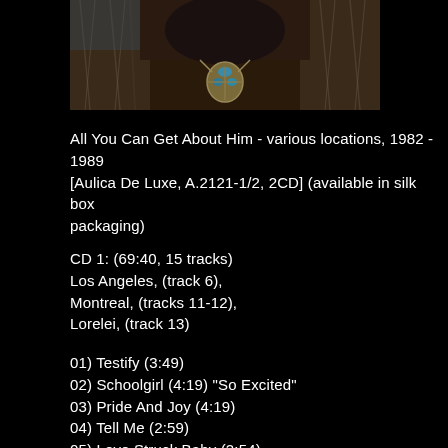[Figure (photo): Close-up photo of a person wearing a turquoise pendant necklace with fur/feather elements, dark background]
All You Can Get About Him - various locations, 1982 - 1989
[Aulica De Luxe, A.2121-1/2, 2CD] (available in silk box packaging)
CD 1: (69:40, 15 tracks)
Los Angeles, (track 6),
Montreal, (tracks 11-12),
Lorelei, (track 13)
01) Testify (3:49)
02) Schoolgirl (4:19) "So Excited"
03) Pride And Joy (4:19)
04) Tell Me (2:59)
05) Love Struck Baby (2:54)
06) I'm Leaving You (Commit A Crime) (5:38)